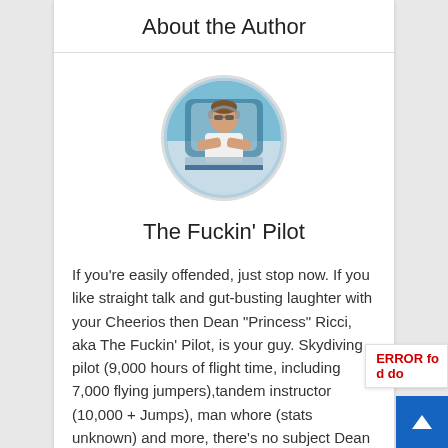About the Author
[Figure (photo): Circular profile photo of The Fuckin' Pilot — a man in a white sleeveless shirt with headphones around his neck, leaning out of a small airplane cockpit window.]
The Fuckin' Pilot
If you're easily offended, just stop now. If you like straight talk and gut-busting laughter with your Cheerios then Dean "Princess" Ricci, aka The Fuckin' Pilot, is your guy. Skydiving pilot (9,000 hours of flight time, including 7,000 flying jumpers),tandem instructor (10,000 + Jumps), man whore (stats unknown) and more, there's no subject Dean doesn't have an opinion or story for.